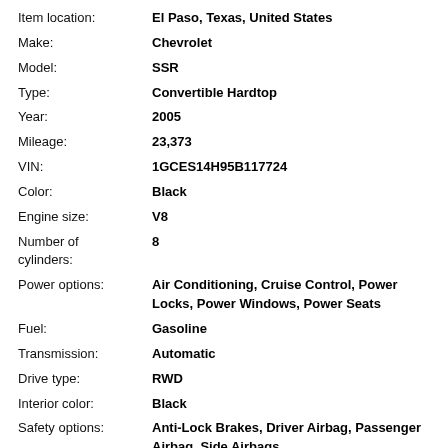| Field | Value |
| --- | --- |
| Item location: | El Paso, Texas, United States |
| Make: | Chevrolet |
| Model: | SSR |
| Type: | Convertible Hardtop |
| Year: | 2005 |
| Mileage: | 23,373 |
| VIN: | 1GCES14H95B117724 |
| Color: | Black |
| Engine size: | V8 |
| Number of cylinders: | 8 |
| Power options: | Air Conditioning, Cruise Control, Power Locks, Power Windows, Power Seats |
| Fuel: | Gasoline |
| Transmission: | Automatic |
| Drive type: | RWD |
| Interior color: | Black |
| Safety options: | Anti-Lock Brakes, Driver Airbag, Passenger Airbag, Side Airbags |
| Options: | CD Player, Convertible, Leather Seats |
| Vehicle Title: | Clear |
| You are |  |